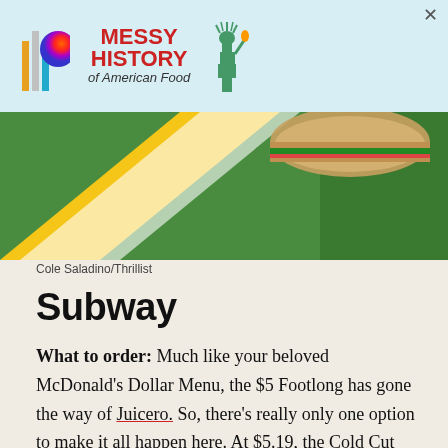[Figure (photo): Advertisement banner with colorful logo bars and a circular gradient logo icon, text reading MESSY HISTORY of American Food with Statue of Liberty graphic, on a light blue background]
[Figure (photo): Close-up photo of a Subway sandwich on green and yellow paper/wrapper with Subway logo elements visible]
Cole Saladino/Thrillist
Subway
What to order: Much like your beloved McDonald's Dollar Menu, the $5 Footlong has gone the way of Juicero. So, there's really only one option to make it all happen here. At $5.19, the Cold Cut Combo is in the running, but you're not leaving space for any chips. Moreover, it's actually fewer calories than the Italian BMT ($3.89) with Genoa salami, spicy pepperoni, Black Forest ham. Load it up with your favorite fixings and add in a bag of Sun Chips.